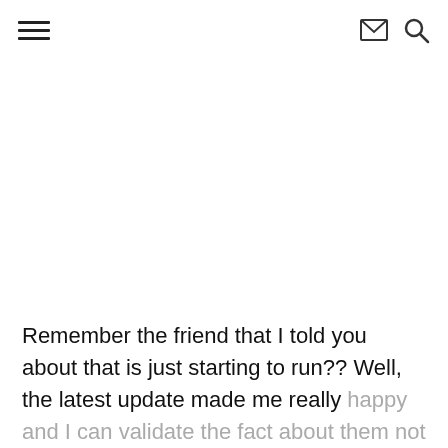≡  ✉ 🔍
Remember the friend that I told you about that is just starting to run?? Well, the latest update made me really happy and I can validate the fact about them not going an entire thirty minutes without laughing:)